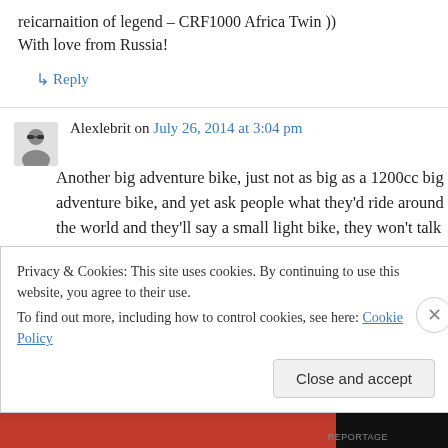reicarnaition of legend – CRF1000 Africa Twin ))
With love from Russia!
↳ Reply
Alexlebrit on July 26, 2014 at 3:04 pm
Another big adventure bike, just not as big as a 1200cc big adventure bike, and yet ask people what they'd ride around the world and they'll say a small light bike, they won't talk about how many horses or how many programs are
Privacy & Cookies: This site uses cookies. By continuing to use this website, you agree to their use.
To find out more, including how to control cookies, see here: Cookie Policy
Close and accept